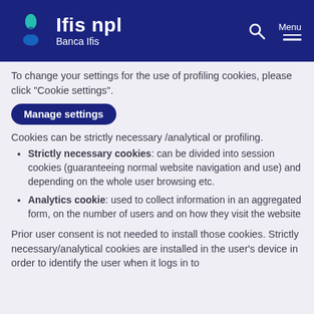[Figure (logo): Ifis npl Banca Ifis logo on dark navy blue header with search icon and menu]
To change your settings for the use of profiling cookies, please click “Cookie settings”.
Manage settings
Cookies can be strictly necessary /analytical or profiling.
Strictly necessary cookies: can be divided into session cookies (guaranteeing normal website navigation and use) and depending on the whole user browsing etc.
Analytics cookie: used to collect information in an aggregated form, on the number of users and on how they visit the website
Prior user consent is not needed to install those cookies. Strictly necessary/analytical cookies are installed in the user’s device in order to identify the user when it logs in to